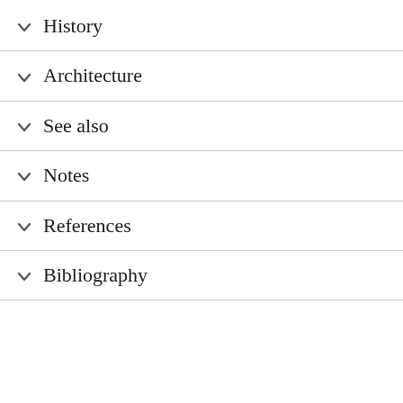History
Architecture
See also
Notes
References
Bibliography